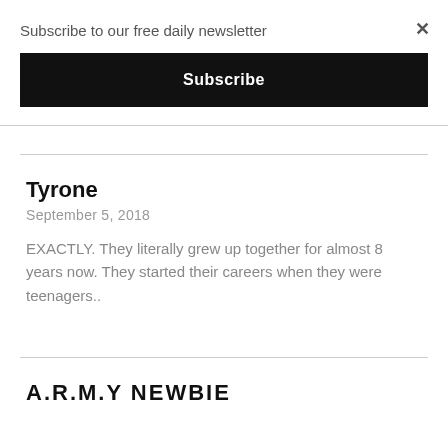Subscribe to our free daily newsletter
Subscribe
×
Tyrone
September 5, 2018
EXACTLY. They literally grew up together for almost 8 years now. They started their careers when they were teenagers..
A.R.M.Y NEWBIE